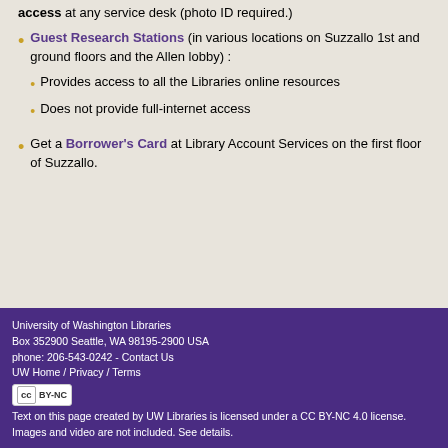access at any service desk (photo ID required.)
Guest Research Stations (in various locations on Suzzallo 1st and ground floors and the Allen lobby) :
Provides access to all the Libraries online resources
Does not provide full-internet access
Get a Borrower's Card at Library Account Services on the first floor of Suzzallo.
University of Washington Libraries
Box 352900 Seattle, WA 98195-2900 USA
phone: 206-543-0242 - Contact Us
UW Home / Privacy / Terms
[CC BY-NC badge]
Text on this page created by UW Libraries is licensed under a CC BY-NC 4.0 license.
Images and video are not included. See details.